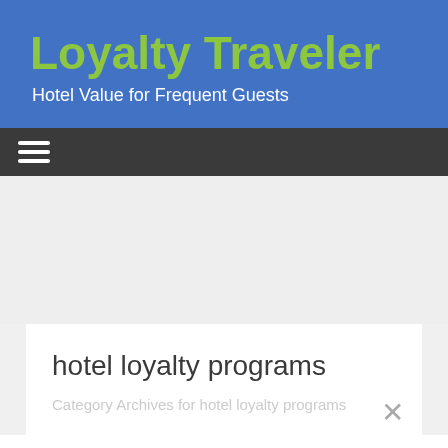Loyalty Traveler
Hotel Value for Frequent Guests
☰
hotel loyalty programs
Category Archives for hotel loyalty programs